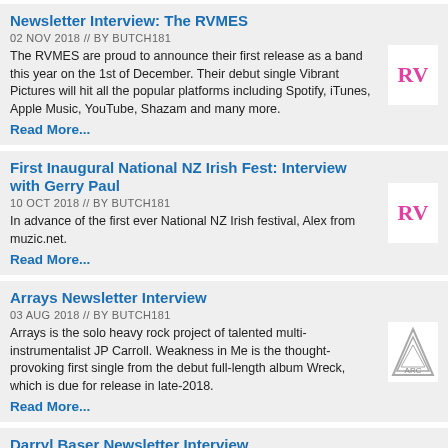Newsletter Interview: The RVMES
02 NOV 2018 // BY BUTCH181
The RVMES are proud to announce their first release as a band this year on the 1st of December. Their debut single Vibrant Pictures will hit all the popular platforms including Spotify, iTunes, Apple Music, YouTube, Shazam and many more.
Read More...
First Inaugural National NZ Irish Fest: Interview with Gerry Paul
10 OCT 2018 // BY BUTCH181
In advance of the first ever National NZ Irish festival, Alex from muzic.net.
Read More...
Arrays Newsletter Interview
03 AUG 2018 // BY BUTCH181
Arrays is the solo heavy rock project of talented multi-instrumentalist JP Carroll. Weakness in Me is the thought-provoking first single from the debut full-length album Wreck, which is due for release in late-2018.
Read More...
Darryl Baser Newsletter Interview
30 JUL 2018 // BY BUTCH181
Dunedin musician Darryl Baser has played with some of New Zealand's favourite musicians and has even toured the South Island with a couple of Australians. With a new album in the pipeline, he spoke to Muzic.
Read More...
Tom Cunliffe - Template For Love Interview
16 APR 2018 // BY BUTCH181